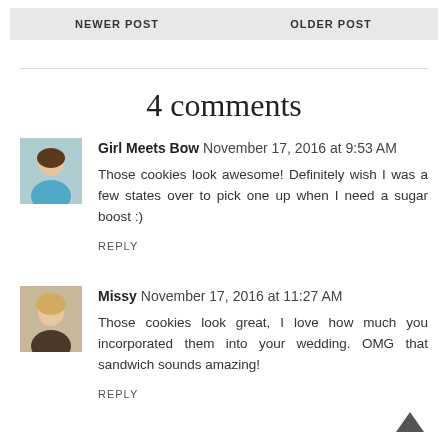NEWER POST | OLDER POST
4 comments
Girl Meets Bow November 17, 2016 at 9:53 AM
Those cookies look awesome! Definitely wish I was a few states over to pick one up when I need a sugar boost :)
REPLY
Missy November 17, 2016 at 11:27 AM
Those cookies look great, I love how much you incorporated them into your wedding. OMG that sandwich sounds amazing!
REPLY